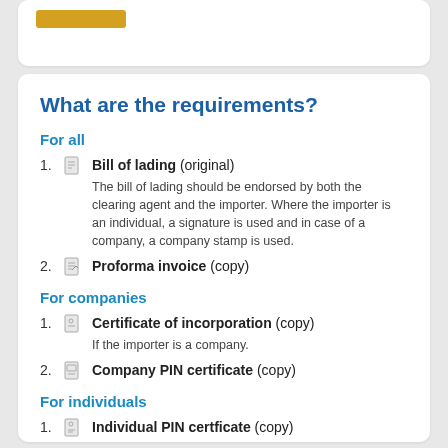What are the requirements?
For all
Bill of lading (original) — The bill of lading should be endorsed by both the clearing agent and the importer. Where the importer is an individual, a signature is used and in case of a company, a company stamp is used.
Proforma invoice (copy)
For companies
Certificate of incorporation (copy) — If the importer is a company.
Company PIN certificate (copy)
For individuals
Individual PIN certficate (copy)